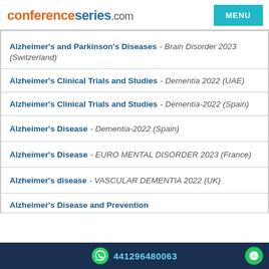conferenceseries.com
Alzheimer's and Parkinson's Diseases - Brain Disorder 2023 (Switzerland)
Alzheimer's Clinical Trials and Studies - Dementia 2022 (UAE)
Alzheimer's Clinical Trials and Studies - Dementia-2022 (Spain)
Alzheimer's Disease - Dementia-2022 (Spain)
Alzheimer's Disease - EURO MENTAL DISORDER 2023 (France)
Alzheimer's disease - VASCULAR DEMENTIA 2022 (UK)
Alzheimer's Disease and Prevention...
441296480063